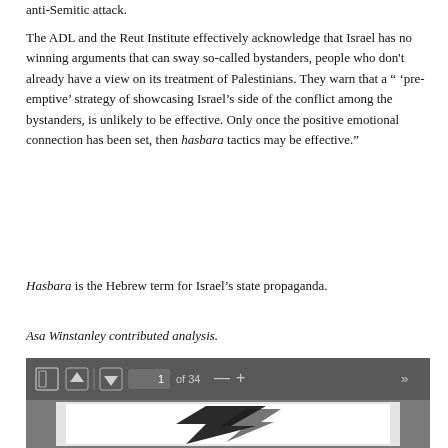anti-Semitic attack.
The ADL and the Reut Institute effectively acknowledge that Israel has no winning arguments that can sway so-called bystanders, people who don't already have a view on its treatment of Palestinians. They warn that a " 'pre-emptive' strategy of showcasing Israel's side of the conflict among the bystanders, is unlikely to be effective. Only once the positive emotional connection has been set, then hasbara tactics may be effective."
Hasbara is the Hebrew term for Israel's state propaganda.
Asa Winstanley contributed analysis.
[Figure (screenshot): PDF viewer navigation bar showing page 1 of 34, with navigation arrows, zoom controls, and document preview showing a black and white image with a star or lightning bolt shape.]